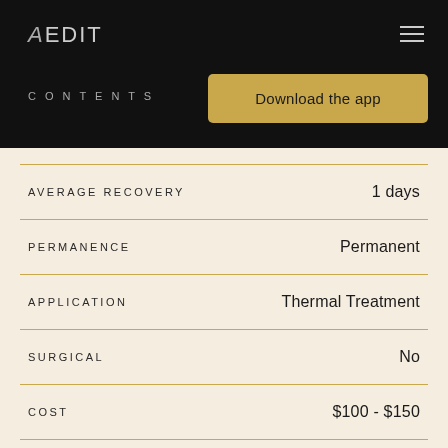AEDIT
CONTENTS
Download the app
| Field | Value |
| --- | --- |
| AVERAGE RECOVERY | 1 days |
| PERMANENCE | Permanent |
| APPLICATION | Thermal Treatment |
| SURGICAL | No |
| COST | $100 - $150 |